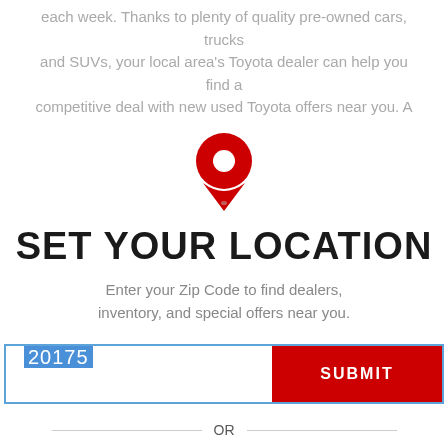each week. Thanks to plenty of quality pre-owned cars, trucks and SUVs, your local area's Toyota dealer can help you find a competitive deal with new used Toyota offers near you. A
[Figure (illustration): Red map location pin icon]
SET YOUR LOCATION
Enter your Zip Code to find dealers, inventory, and special offers near you.
20175 [zip input field] SUBMIT
OR
FIND A DEALER